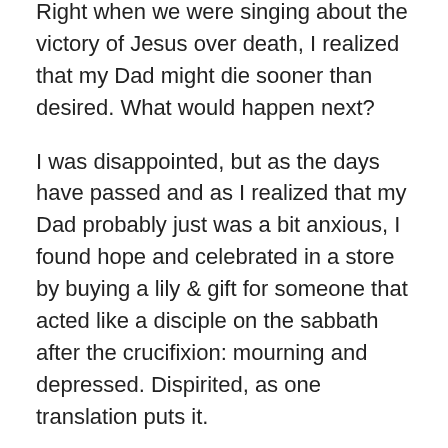Right when we were singing about the victory of Jesus over death, I realized that my Dad might die sooner than desired. What would happen next?
I was disappointed, but as the days have passed and as I realized that my Dad probably just was a bit anxious, I found hope and celebrated in a store by buying a lily & gift for someone that acted like a disciple on the sabbath after the crucifixion: mourning and depressed. Dispirited, as one translation puts it.
While I went to the Sunrise Service this year, the real resurrection celebration happened in a most ordinary way: sharing a little kindness with a stranger who was discouraged.
I am a missionary of hope.
However, Jesus & the power of His ...